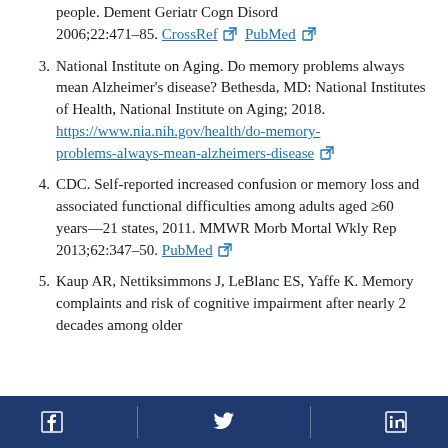people. Dement Geriatr Cogn Disord 2006;22:471–85. CrossRef [external link] PubMed [external link]
3. National Institute on Aging. Do memory problems always mean Alzheimer's disease? Bethesda, MD: National Institutes of Health, National Institute on Aging; 2018. https://www.nia.nih.gov/health/do-memory-problems-always-mean-alzheimers-disease [external link]
4. CDC. Self-reported increased confusion or memory loss and associated functional difficulties among adults aged ≥60 years—21 states, 2011. MMWR Morb Mortal Wkly Rep 2013;62:347–50. PubMed [external link]
5. Kaup AR, Nettiksimmons J, LeBlanc ES, Yaffe K. Memory complaints and risk of cognitive impairment after nearly 2 decades among older
Facebook | Twitter | LinkedIn